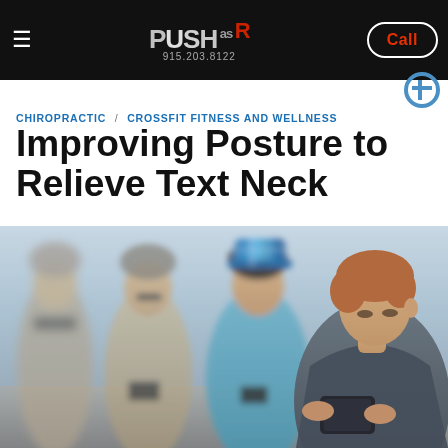[Figure (other): PUSH as Rx website header banner with logo, phone number 915.203.8122, and Call button on black background]
CHIROPRACTIC / CROSSFIT FITNESS AND WELLNESS
Improving Posture to Relieve Text Neck
[Figure (photo): Group of young people sitting outdoors looking down at their phones, demonstrating text neck posture]